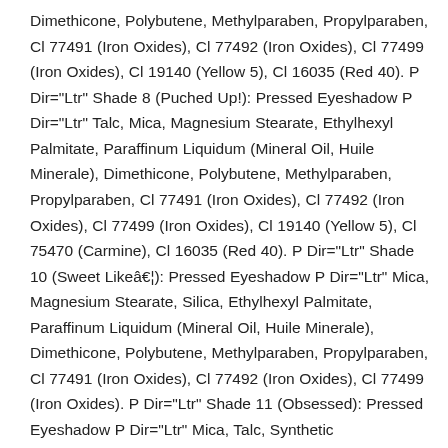Dimethicone, Polybutene, Methylparaben, Propylparaben, Cl 77491 (Iron Oxides), Cl 77492 (Iron Oxides), Cl 77499 (Iron Oxides), Cl 19140 (Yellow 5), Cl 16035 (Red 40). P Dir="Ltr" Shade 8 (Puched Up!): Pressed Eyeshadow P Dir="Ltr" Talc, Mica, Magnesium Stearate, Ethylhexyl Palmitate, Paraffinum Liquidum (Mineral Oil, Huile Minerale), Dimethicone, Polybutene, Methylparaben, Propylparaben, Cl 77491 (Iron Oxides), Cl 77492 (Iron Oxides), Cl 77499 (Iron Oxides), Cl 19140 (Yellow 5), Cl 75470 (Carmine), Cl 16035 (Red 40). P Dir="Ltr" Shade 10 (Sweet Likeâ€¦): Pressed Eyeshadow P Dir="Ltr" Mica, Magnesium Stearate, Silica, Ethylhexyl Palmitate, Paraffinum Liquidum (Mineral Oil, Huile Minerale), Dimethicone, Polybutene, Methylparaben, Propylparaben, Cl 77491 (Iron Oxides), Cl 77492 (Iron Oxides), Cl 77499 (Iron Oxides). P Dir="Ltr" Shade 11 (Obsessed): Pressed Eyeshadow P Dir="Ltr" Mica, Talc, Synthetic